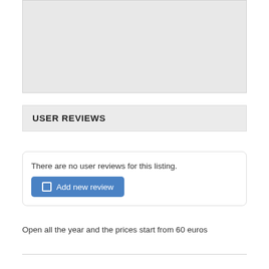[Figure (other): Gray placeholder box at top of page]
USER REVIEWS
There are no user reviews for this listing.
Add new review
Open all the year and the prices start from 60 euros